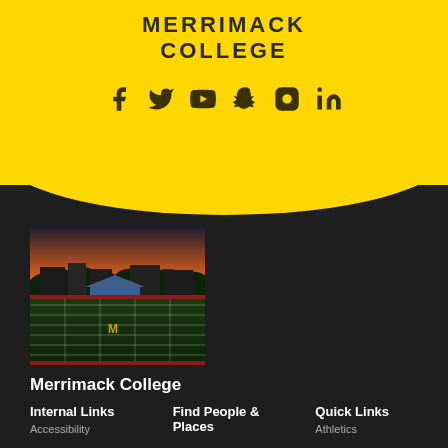MERRIMACK COLLEGE
[Figure (infographic): Social media icons: Facebook, Twitter, YouTube, Snapchat, Instagram, LinkedIn in dark color on yellow background]
[Figure (photo): Aerial/drone photo of Merrimack College campus at sunset showing football field with yellow markings and surrounding buildings]
Merrimack College
315 Turnpike Street
North Andover, MA 01845
(978) 837-5000
Directions
Internal Links
Find People & Places
Quick Links
Accessibility
Athletics